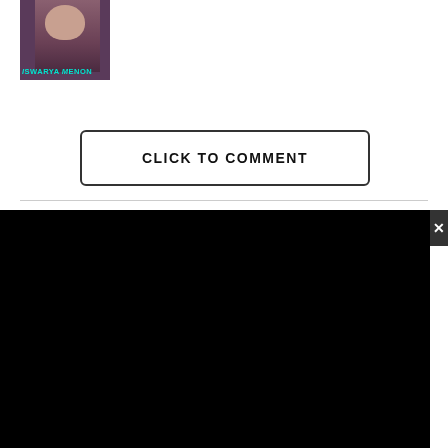[Figure (photo): Photo of Iswarya Menon with name label in teal/cyan text at bottom]
CLICK TO COMMENT
[Figure (screenshot): Black video player overlay showing 'Click To Unmute' with mute icon, and an error bar reading 'Source not found' with red warning icon. Close button at top right.]